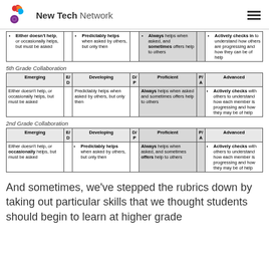New Tech Network
| Emerging | E/D | Developing | D/P | Proficient | P/A | Advanced |
| --- | --- | --- | --- | --- | --- | --- |
| Either doesn't help, or occasionally helps, but must be asked |  | Predictably helps when asked by others, but only then |  | Always helps when asked, and sometimes offers help to others |  | Actively checks in to understand how others are progressing and how they can be of help |
5th Grade Collaboration
| Emerging | E/D | Developing | D/P | Proficient | P/A | Advanced |
| --- | --- | --- | --- | --- | --- | --- |
| Either doesn't help, or occasionally helps, but must be asked |  | Predictably helps when asked by others, but only then |  | Always helps when asked and sometimes offers help to others |  | Actively checks with others to understand how each member is progressing and how they may be of help |
2nd Grade Collaboration
| Emerging | E/D | Developing | D/P | Proficient | P/A | Advanced |
| --- | --- | --- | --- | --- | --- | --- |
| Either doesn't help, or occasionally helps, but must be asked |  | Predictably helps when asked by others, but only then |  | Always helps when asked, and sometimes offers help to others |  | Actively checks with others to understand how each member is progressing and how they may be of help |
And sometimes, we've stepped the rubrics down by taking out particular skills that we thought students should begin to learn at higher grade…